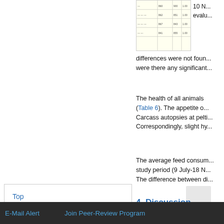[Figure (table-as-image): Partial view of a data table with numeric values, shown in a light yellow box at top right]
differences were not found... were there any significant...
The health of all animals... (Table 6). The appetite o... Carcass autopsies at pelti... Correspondingly, slight hy...
The average feed consum... study period (9 July-18 N... The difference between di...
4. Discussion
Top
ABSTRACT
Introduction
Material and Methods
Results
Discussion
E-Mail Alert    Join Peer-Review Program